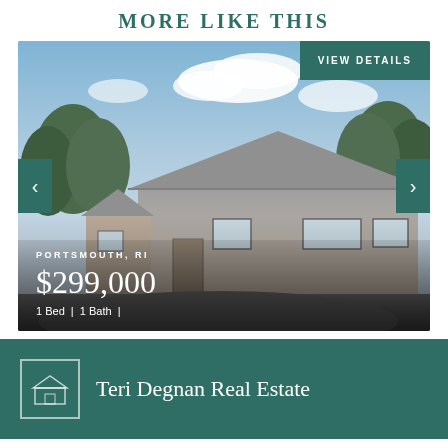MORE LIKE THIS
[Figure (photo): Exterior photo of a small Cape Cod style house with cedar shingle siding, blue sky background with clouds, trees, and asphalt driveway. Location: Portsmouth, RI. Price: $299,000. 1 Bed | 1 Bath |]
VIEW DETAILS
PORTSMOUTH, RI
$299,000
1 Bed | 1 Bath |
Teri Degnan Real Estate